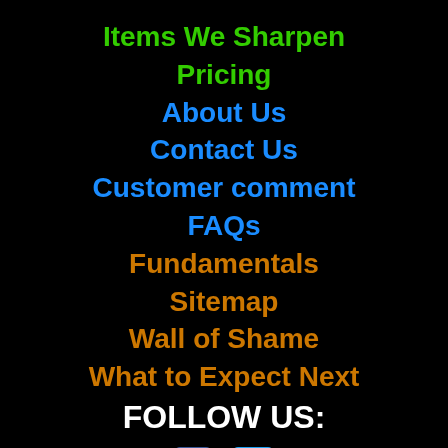Items We Sharpen
Pricing
About Us
Contact Us
Customer comment
FAQs
Fundamentals
Sitemap
Wall of Shame
What to Expect Next
FOLLOW US:
[Figure (illustration): Social media icons (Facebook and Twitter) partially visible at bottom of page]